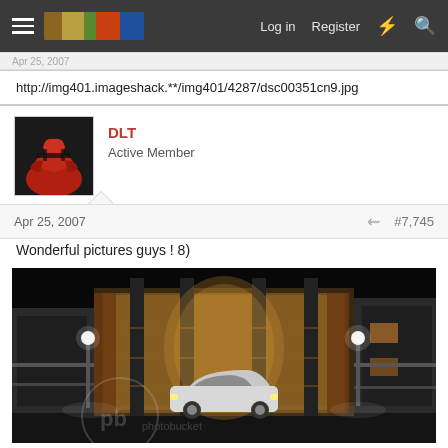Log in | Register
http://img401.imageshack.**/img401/4287/dsc00351cn9.jpg
DLT
Active Member
Apr 25, 2007 #7,745
Wonderful pictures guys ! 8)
[Figure (photo): Night-time exterior photo of a modern glass and concrete building with a white sedan parked in front, with photobucket watermark overlay]